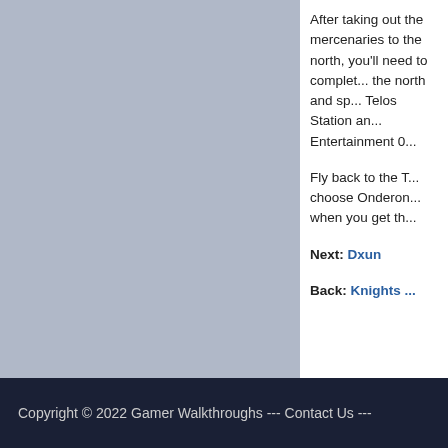[Figure (screenshot): Gray/blue screenshot panel on the left side of the page, showing a game scene with a muted blue-gray color.]
After taking out the mercenaries to the north, you'll need to complete this quest. Head to the area to the north and speak with the Exchange Thugs at the Telos Station and complete the quest for the Entertainment 0...
Fly back to the T... choose Onderon... when you get th...
Next: Dxun
Back: Knights ...
Copyright © 2022 Gamer Walkthroughs --- Contact Us ---